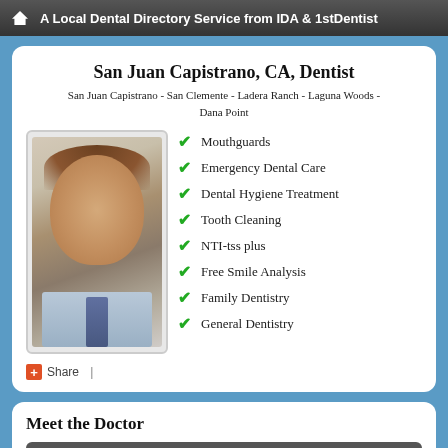A Local Dental Directory Service from IDA & 1stDentist
San Juan Capistrano, CA, Dentist
San Juan Capistrano - San Clemente - Ladera Ranch - Laguna Woods - Dana Point
[Figure (photo): Portrait photo of a male dentist in a light blue shirt and tie, smiling at camera]
Mouthguards
Emergency Dental Care
Dental Hygiene Treatment
Tooth Cleaning
NTI-tss plus
Free Smile Analysis
Family Dentistry
General Dentistry
Share |
Meet the Doctor
Robert Kly...